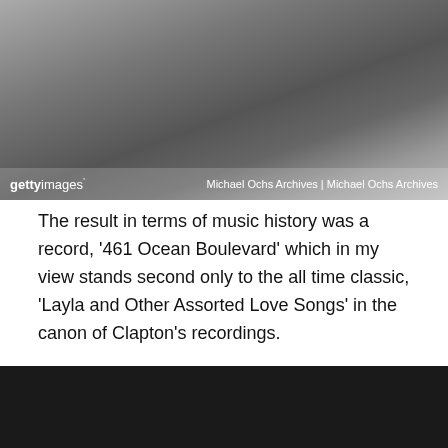[Figure (photo): Black and white photograph of what appears to be a person near a piano or recording equipment, with Getty Images watermark. Credit: Michael Ochs Archives | Michael Ochs Archives]
The result in terms of music history was a record, '461 Ocean Boulevard' which in my view stands second only to the all time classic, 'Layla and Other Assorted Love Songs' in the canon of Clapton's recordings.
It's a record, at its heart, where a true bluesman reached out in tender gospel supplication for peace and redemption – a peace and redemption the record seems to find.
[Figure (photo): Bottom portion of a dark/black photograph, partially visible at the bottom of the page.]